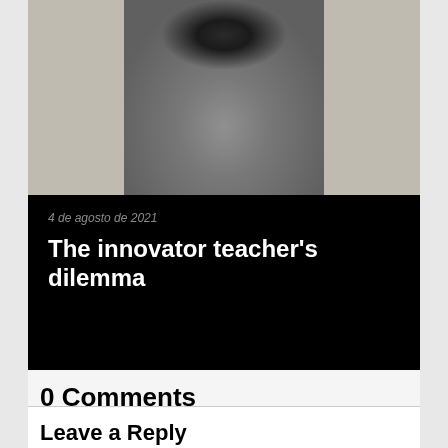[Figure (photo): Black and white photo of a woman with dark hair wearing a grey sweater, seated indoors]
4 de agosto de 2021
The innovator teacher's dilemma
0 Comments
Leave a Reply